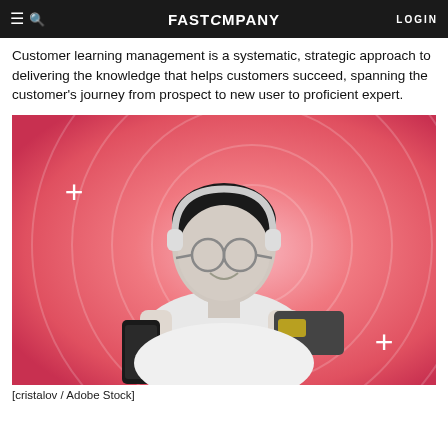FAST COMPANY  LOGIN
Customer learning management is a systematic, strategic approach to delivering the knowledge that helps customers succeed, spanning the customer's journey from prospect to new user to proficient expert.
[Figure (photo): Woman wearing headphones and glasses, smiling, holding a smartphone and credit card. Background is a pink-to-coral gradient with concentric circle rings and white plus signs.]
[cristalov / Adobe Stock]